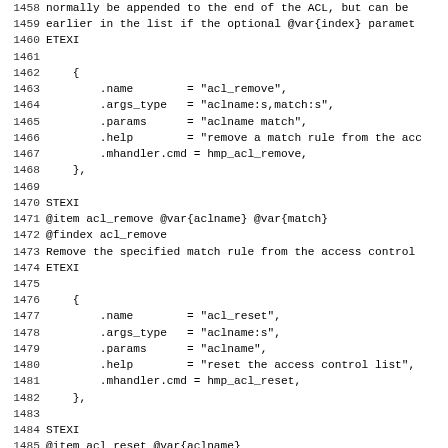Code listing lines 1458-1490 showing QEMU HMP acl_remove and acl_reset command definitions in C and STEXI documentation format
[Figure (screenshot): Source code listing showing lines 1458-1490 with line numbers, containing C struct initializers for acl_remove and acl_reset HMP commands, interleaved with STEXI documentation blocks]